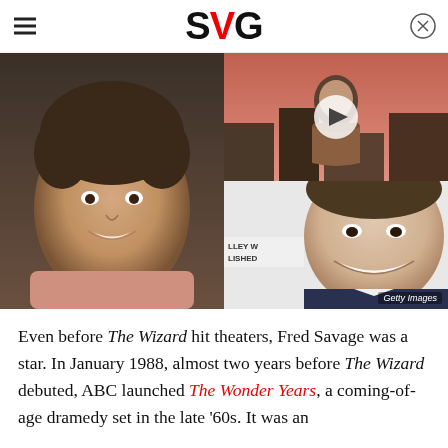SVG
[Figure (photo): Left: young boy (Fred Savage as a child) smiling in a film still with brown curly hair, pink shirt. Right top: video game character image (GTA IV Niko Bellic) with a play button overlay. Right bottom: adult man (Fred Savage) smiling in a suit at an event, with Getty Images watermark.]
Even before The Wizard hit theaters, Fred Savage was a star. In January 1988, almost two years before The Wizard debuted, ABC launched The Wonder Years, a coming-of-age dramedy set in the late '60s. It was an